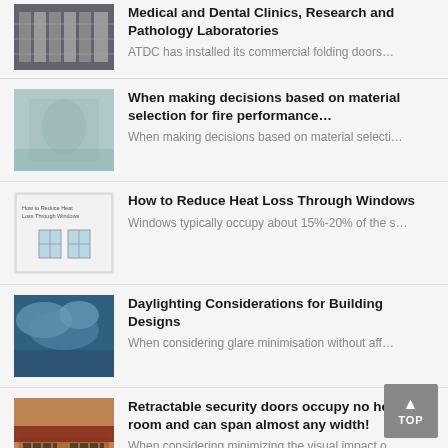Medical and Dental Clinics, Research and Pathology Laboratories
ATDC has installed its commercial folding doors...
When making decisions based on material selection for fire performance...
When making decisions based on material selecti...
How to Reduce Heat Loss Through Windows
Windows typically occupy about 15%-20% of the s...
Daylighting Considerations for Building Designs
When considering glare minimisation without aff...
Retractable security doors occupy no head room and can span almost any width!
When considering minimizing the visual impact o...